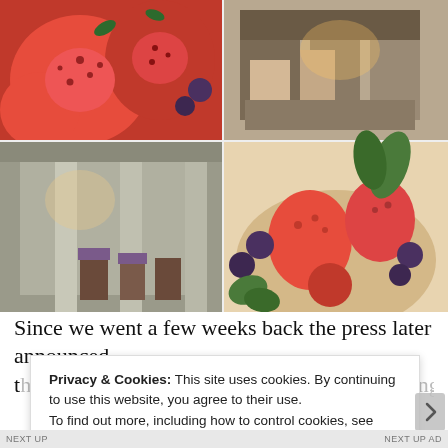[Figure (photo): Four-image photo grid: top-left shows close-up of red strawberries and blueberries; top-right shows interior of a restaurant/cafe kitchen area; bottom-left shows interior dining room with columns and chairs; bottom-right shows a bowl of mixed berries including strawberries, raspberries, blueberries and mint leaves.]
Since we went a few weeks back the press later announced that the Northcote (Michelin star) will be selling the f...
Privacy & Cookies: This site uses cookies. By continuing to use this website, you agree to their use.
To find out more, including how to control cookies, see here: Cookie Policy
Close and accept